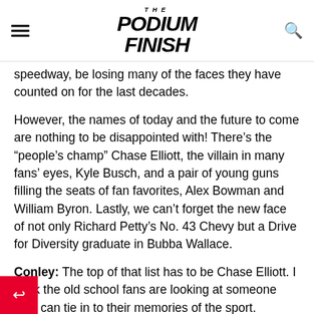THE PODIUM FINISH
speedway, be losing many of the faces they have counted on for the last decades.
However, the names of today and the future to come are nothing to be disappointed with! There’s the “people’s champ” Chase Elliott, the villain in many fans’ eyes, Kyle Busch, and a pair of young guns filling the seats of fan favorites, Alex Bowman and William Byron. Lastly, we can’t forget the new face of not only Richard Petty’s No. 43 Chevy but a Drive for Diversity graduate in Bubba Wallace.
Conley: The top of that list has to be Chase Elliott. I think the old school fans are looking at someone they can tie in to their memories of the sport.
th Bill Elliott being the most popular driver for a